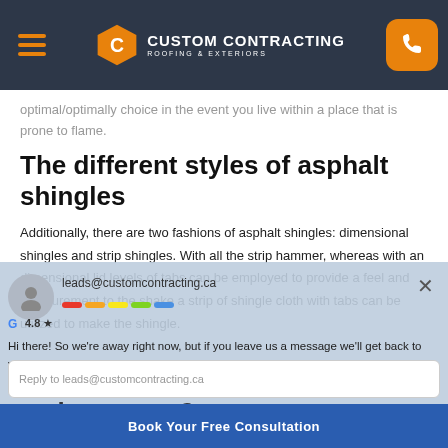Custom Contracting Roofing & Exteriors navigation bar
optimal/optimally choice in the event you live within a place that is prone to flame.
The different styles of asphalt shingles
Additionally, there are two fashions of asphalt shingles: dimensional shingles and strip shingles. With all the strip hammer, whereas with an dimensional lid levels of tabs can be employed to provide a feel and measurement to the shake a strip of shingle cloth with tabs can be utilized to make the shingle.
Do asphalt shingles need maintenance?
Hi there! So we're away right now, but if you leave us a message we'll get back to you soon.
leads@customcontracting.ca
4.8
Reply to leads@customcontracting.ca
Book Your Free Consultation